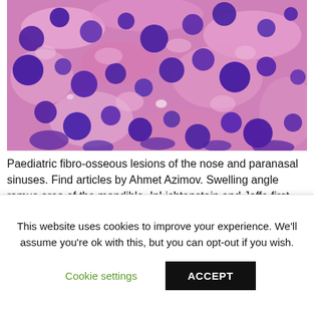[Figure (photo): Microscopy image showing histological slide with purple and pink stained cells, likely H&E stained tissue showing dense cellular material with large dark purple nuclei on a light pink background — consistent with a fibro-osseous or neoplastic lesion.]
Paediatric fibro-osseous lesions of the nose and paranasal sinuses. Find articles by Ahmet Azimov. Swelling angle ramus area of the mandible. InLichtenstein and Jaffe first introduced the term
This website uses cookies to improve your experience. We'll assume you're ok with this, but you can opt-out if you wish.
Cookie settings
ACCEPT